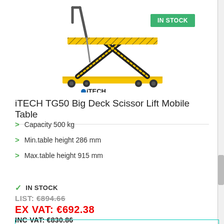[Figure (photo): Yellow and black iTECH scissor lift mobile table with cross-brace mechanism, handle bars, and castor wheels. iTECH logo visible at bottom. IN STOCK green badge in top right.]
iTECH TG50 Big Deck Scissor Lift Mobile Table
Capacity 500 kg
Min.table height 286 mm
Max.table height 915 mm
IN STOCK
LIST: €894.66
EX VAT: €692.38
INC VAT: €830.86